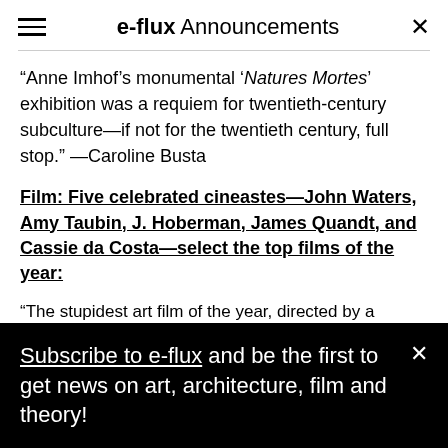e-flux Announcements
“Anne Imhof’s monumental ‘Natures Mortes’ exhibition was a requiem for twentieth-century subculture—if not for the twentieth century, full stop.” —Caroline Busta
Film: Five celebrated cineastes—John Waters, Amy Taubin, J. Hoberman, James Quandt, and Cassie da Costa—select the top films of the year:
“The stupidest art film of the year, directed by a
Subscribe to e-flux and be the first to get news on art, architecture, film and theory!